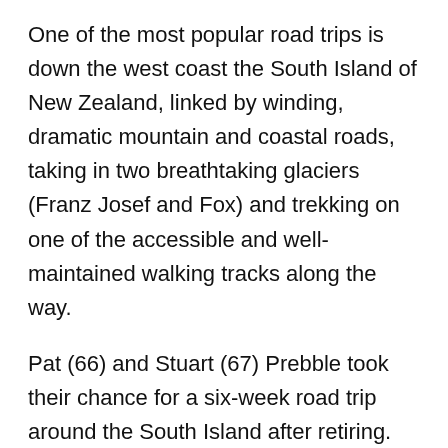One of the most popular road trips is down the west coast the South Island of New Zealand, linked by winding, dramatic mountain and coastal roads, taking in two breathtaking glaciers (Franz Josef and Fox) and trekking on one of the accessible and well-maintained walking tracks along the way.
Pat (66) and Stuart (67) Prebble took their chance for a six-week road trip around the South Island after retiring. “We’d always planned to do it, but we wanted to take as much time as we needed and go wherever we chose, so hiring a car and planning our own route was ideal. We also found that by hiring a car out there, once we went over 30 days the cost dropped to barely £15 a day.”
Pat and Stuart chose their stop-offs points as they went along, making full use of the excellent i-Sites (information